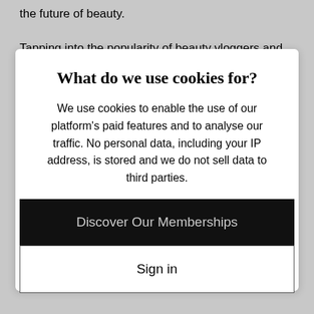the future of beauty.

Tapping into the popularity of beauty vloggers and influencers, Élever will allow users to download looks seen online and print
What do we use cookies for?
We use cookies to enable the use of our platform's paid features and to analyse our traffic. No personal data, including your IP address, is stored and we do not sell data to third parties.
GOT IT!
Learn more
Discover Our Memberships
Sign in